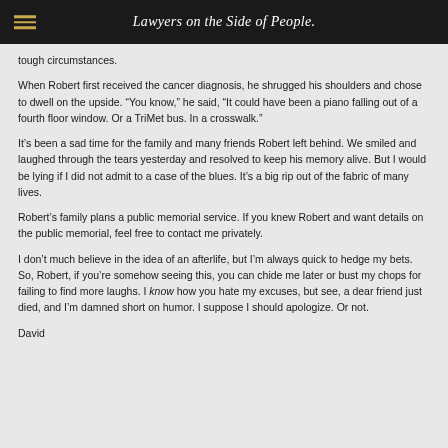Lawyers on the Side of People.
tough circumstances.
When Robert first received the cancer diagnosis, he shrugged his shoulders and chose to dwell on the upside. “You know,” he said, “It could have been a piano falling out of a fourth floor window. Or a TriMet bus. In a crosswalk.”
It’s been a sad time for the family and many friends Robert left behind. We smiled and laughed through the tears yesterday and resolved to keep his memory alive. But I would be lying if I did not admit to a case of the blues. It’s a big rip out of the fabric of many lives.
Robert’s family plans a public memorial service. If you knew Robert and want details on the public memorial, feel free to contact me privately.
I don’t much believe in the idea of an afterlife, but I’m always quick to hedge my bets. So, Robert, if you’re somehow seeing this, you can chide me later or bust my chops for failing to find more laughs. I know how you hate my excuses, but see, a dear friend just died, and I’m damned short on humor. I suppose I should apologize. Or not.
David